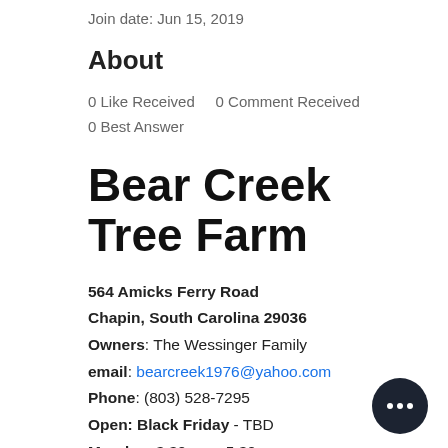Join date: Jun 15, 2019
About
0 Like Received   0 Comment Received
0 Best Answer
Bear Creek Tree Farm
564 Amicks Ferry Road
Chapin, South Carolina 29036
Owners: The Wessinger Family
email: bearcreek1976@yahoo.com
Phone: (803) 528-7295
Open: Black Friday - TBD
Monday: 3:30 p.m.-5:30 p.m.
Tuesday: 3:30 p.m.-5:30 p.m.
Wednesday: 3:30 p.m.-5:30 p.m.
Thursday: 3:30 p.m.-5:30 p.m.